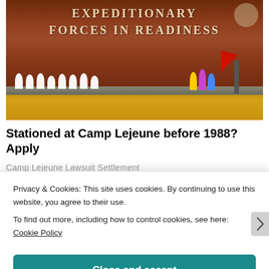[Figure (photo): Brick wall with text 'EXPEDITIONARY FORCES IN READINESS', flowers and memorial items arranged in front at ground level with autumn leaves on ground]
Stationed at Camp Lejeune before 1988? Apply
Camp Lejeune Lawsuit Settlement
[Figure (photo): Thumbnail photo of a bald man, partial view for news story about Georgia city official]
Georgia city official resigns after Confederate shop
Privacy & Cookies: This site uses cookies. By continuing to use this website, you agree to their use.
To find out more, including how to control cookies, see here: Cookie Policy
Close and accept